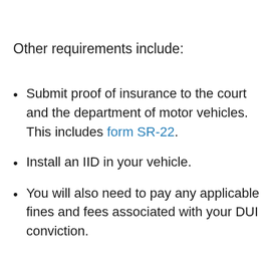Other requirements include:
Submit proof of insurance to the court and the department of motor vehicles. This includes form SR-22.
Install an IID in your vehicle.
You will also need to pay any applicable fines and fees associated with your DUI conviction.